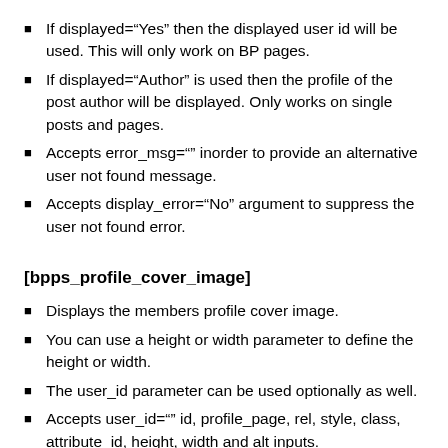If displayed="Yes" then the displayed user id will be used. This will only work on BP pages.
If displayed="Author" is used then the profile of the post author will be displayed. Only works on single posts and pages.
Accepts error_msg="" inorder to provide an alternative user not found message.
Accepts display_error="No" argument to suppress the user not found error.
[bpps_profile_cover_image]
Displays the members profile cover image.
You can use a height or width parameter to define the height or width.
The user_id parameter can be used optionally as well.
Accepts user_id="" id, profile_page, rel, style, class, attribute_id, height, width and alt inputs.